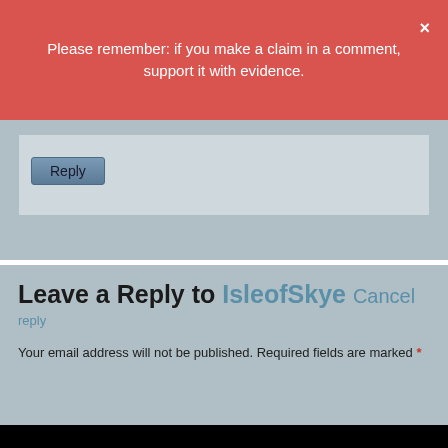Please remember: if you make a claim in a comment, support it with evidence.
Leave a Reply to IsleofSkye Cancel reply
Your email address will not be published. Required fields are marked *
This website uses necessary cookies to make it work and to remember your preferences. Click on 'Cookie settings' to control your consent for other cookies or click on 'Accept all' to consent to the use of all cookies. By continuing to browse this website you are agreeing to our Privacy policy.
Accept all
Cookie settings
Privacy policy